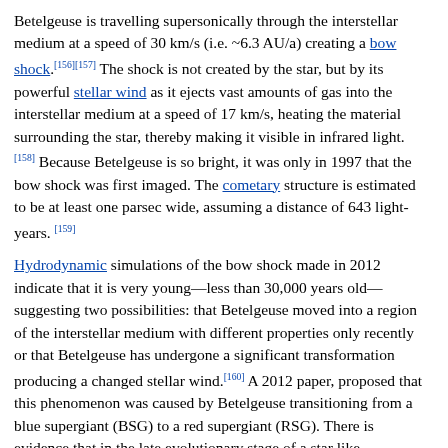Betelgeuse is travelling supersonically through the interstellar medium at a speed of 30 km/s (i.e. ~6.3 AU/a) creating a bow shock.[156][157] The shock is not created by the star, but by its powerful stellar wind as it ejects vast amounts of gas into the interstellar medium at a speed of 17 km/s, heating the material surrounding the star, thereby making it visible in infrared light.[158] Because Betelgeuse is so bright, it was only in 1997 that the bow shock was first imaged. The cometary structure is estimated to be at least one parsec wide, assuming a distance of 643 light-years.[159]
Hydrodynamic simulations of the bow shock made in 2012 indicate that it is very young—less than 30,000 years old—suggesting two possibilities: that Betelgeuse moved into a region of the interstellar medium with different properties only recently or that Betelgeuse has undergone a significant transformation producing a changed stellar wind.[160] A 2012 paper, proposed that this phenomenon was caused by Betelgeuse transitioning from a blue supergiant (BSG) to a red supergiant (RSG). There is evidence that in the late evolutionary stage of a star like Betelgeuse, such stars "may undergo rapid transitions from red to blue and vice versa on the Hertzsprung-Russell diagram, with accompanying rapid changes to their stellar winds and bow shocks."[156][161] Moreover, if future research bears out this